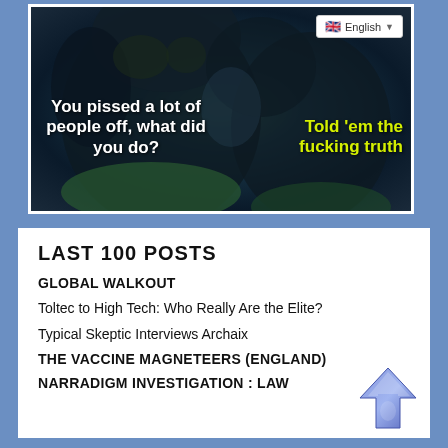[Figure (photo): Meme image with a chimpanzee/ape in dark background. Left text in white: 'You pissed a lot of people off, what did you do?' Right text in yellow-green: 'Told 'em the fucking truth'. English language selector badge in top right corner.]
LAST 100 POSTS
GLOBAL WALKOUT
Toltec to High Tech: Who Really Are the Elite?
Typical Skeptic Interviews Archaix
THE VACCINE MAGNETEERS (ENGLAND)
NARRADIGM INVESTIGATION : LAW